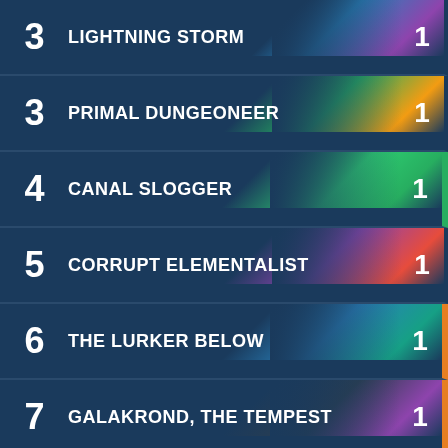3 LIGHTNING STORM 1
3 PRIMAL DUNGEONEER 1
4 CANAL SLOGGER 1
5 CORRUPT ELEMENTALIST 1
6 THE LURKER BELOW 1
7 GALAKROND, THE TEMPEST 1
9 SHUDDERWOCK 1
Neutral (17)
1 ARMOR VENDOR 1
[Figure (screenshot): Fanbyte ad banner: THE BEST GAMING CONTENT, DELIVERED DAILY]
Report ad